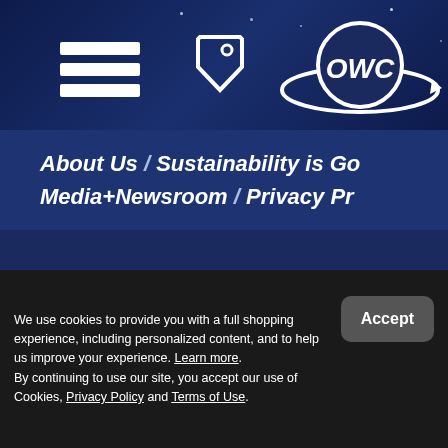[Figure (logo): OWC logo with hamburger menu icon and price tag icon on dark navy background with stars]
About Us / Sustainability is Go... Media+Newsroom / Privacy Pr...
© 2000-2022 Other World Com... All Rights Reserved. Site Terms
Guest ID: 160862226 Load Tim...
We use cookies to provide you with a full shopping experience, including personalized content, and to help us improve your experience. Learn more. By continuing to use our site, you accept our use of Cookies, Privacy Policy and Terms of Use.